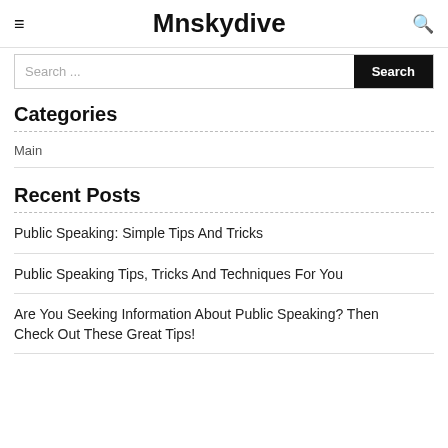Mnskydive
Search ...
Categories
Main
Recent Posts
Public Speaking: Simple Tips And Tricks
Public Speaking Tips, Tricks And Techniques For You
Are You Seeking Information About Public Speaking? Then Check Out These Great Tips!